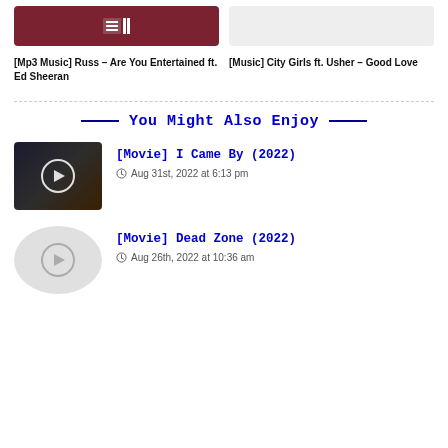[Figure (thumbnail): Dark red/maroon thumbnail with a grid/table icon in white]
[Mp3 Music] Russ – Are You Entertained ft. Ed Sheeran
[Music] City Girls ft. Usher – Good Love
You Might Also Enjoy
[Figure (thumbnail): Dark movie thumbnail with a play button circle overlay for I Came By (2022)]
[Movie] I Came By (2022)
Aug 31st, 2022 at 6:13 pm
[Figure (thumbnail): Light gray thumbnail with a faded play button circle for Dead Zone (2022)]
[Movie] Dead Zone (2022)
Aug 26th, 2022 at 10:36 am